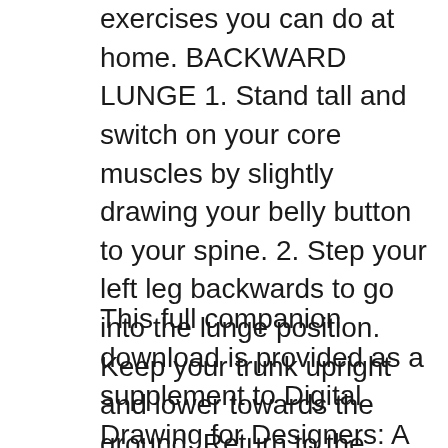exercises you can do at home. BACKWARD LUNGE 1. Stand tall and switch on your core muscles by slightly drawing your belly button to your spine. 2. Step your left leg backwards to go into the lunge position. Keep your trunk upright and lower towards the ground. Return to the starting position and change legs over. CRAB WALK 1. Sit on the
This full companion download is provided as a supplement to Digital Drawing for Designers: A Visual Guide to AutoCAD 2017. These downloads are compatible with AutoCAD versions 2010-2017. The PDF level is an electronic copy of each book, in PDF